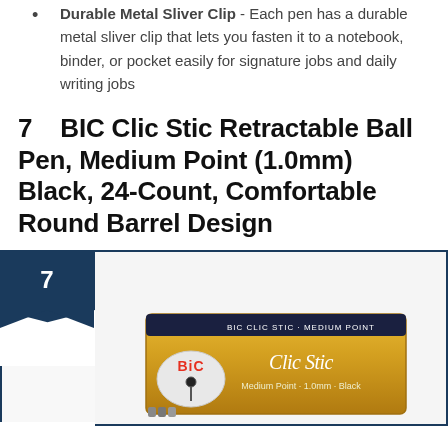Durable Metal Sliver Clip - Each pen has a durable metal sliver clip that lets you fasten it to a notebook, binder, or pocket easily for signature jobs and daily writing jobs
7   BIC Clic Stic Retractable Ball Pen, Medium Point (1.0mm) Black, 24-Count, Comfortable Round Barrel Design
[Figure (photo): Product image of BIC Clic Stic pens box, showing a yellow/orange box with BIC logo and Clic Stic branding, medium point pens visible, number 7 badge in dark navy blue at top left corner of the framed image]